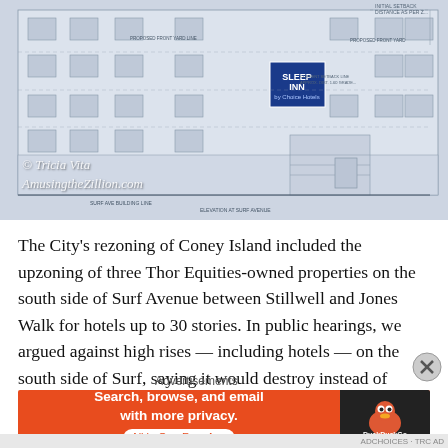[Figure (engineering-diagram): Architectural elevation drawing of a multi-story hotel building with 'Sleep Inn' signage visible. The blueprint-style drawing shows multiple floors with windows, a staircase entrance, and technical annotations. Watermark reads '© Tricia Vita / AmusingtheZillion.com'.]
The City's rezoning of Coney Island included the upzoning of three Thor Equities-owned properties on the south side of Surf Avenue between Stillwell and Jones Walk for hotels up to 30 stories. In public hearings, we argued against high rises — including hotels — on the south side of Surf, saying it would destroy instead of enhance Coney Island's
Advertisements
[Figure (screenshot): DuckDuckGo advertisement banner with orange background on the left reading 'Search, browse, and email with more privacy. All in One Free App' and DuckDuckGo logo on black background on the right.]